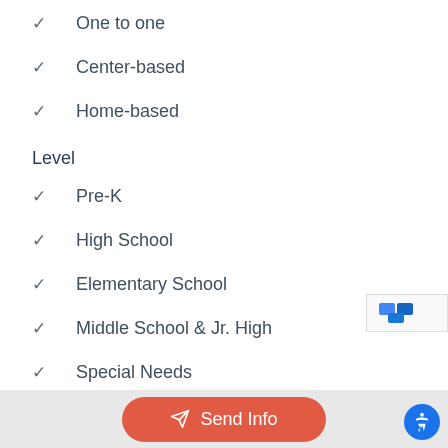✓  One to one
✓  Center-based
✓  Home-based
Level
✓  Pre-K
✓  High School
✓  Elementary School
✓  Middle School & Jr. High
✓  Special Needs
Academic Skills
Send Info